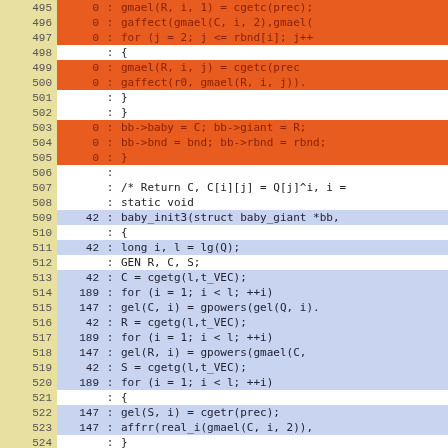[Figure (screenshot): Code coverage viewer showing lines 495-524 of source code. Lines with orange background have coverage count 0. Lines with blue background are covered (counts 42, 189, 147). Lines with white background have no count. Two columns on left show line numbers and hit counts, followed by source code.]